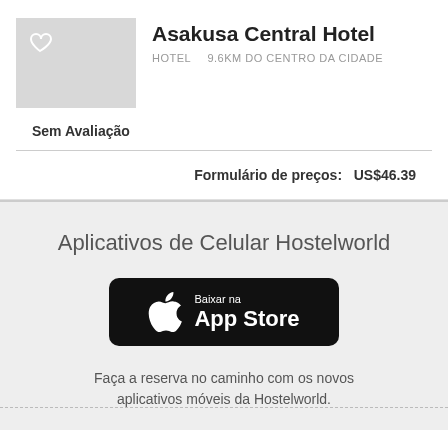Asakusa Central Hotel
HOTEL  9.6km do centro da cidade
Sem Avaliação
Formulário de preços:  US$46.39
Aplicativos de Celular Hostelworld
[Figure (logo): App Store download button with Apple logo, text 'Baixar na App Store' on black rounded rectangle background]
Faça a reserva no caminho com os novos aplicativos móveis da Hostelworld.